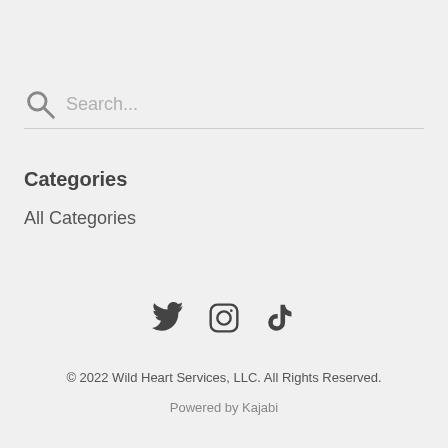Search...
Categories
All Categories
[Figure (illustration): Three social media icons: Twitter (bird), Instagram (camera), TikTok (musical note)]
© 2022 Wild Heart Services, LLC. All Rights Reserved.
Powered by Kajabi